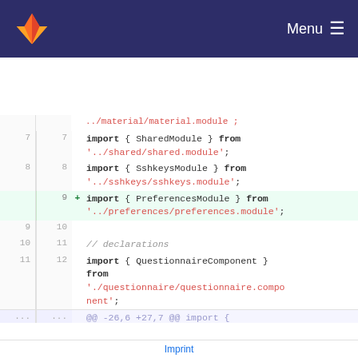Menu
[Figure (screenshot): GitLab code diff view showing TypeScript import statements. Lines 7-12 visible with a new added line 9 (highlighted green) importing PreferencesModule. Also shows lines 26-30 with module list. A diff hunk separator with @@ markers is visible.]
Imprint